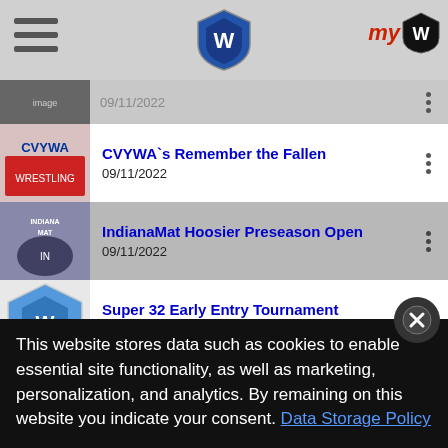Wrestling tournament app header with hamburger menu, shield logo, and myT logo
CVYWA`s Remember the Fallen | 09/11/2022
IndianaMat Hoosier Preseason Open | 09/11/2022
Super 32 Early Entry Tournament | 09/16 - 09/18/2022
Tyrant Tussle Duals Elementary 3rd | 09/17 - 09/18/2022
Tyrant Tussle Duals Elementary 6th | 09/17 - 09/18/2022
This website stores data such as cookies to enable essential site functionality, as well as marketing, personalization, and analytics. By remaining on this website you indicate your consent. Data Storage Policy